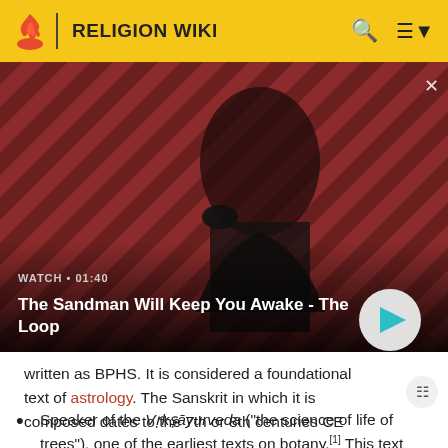RELIGION WIKI
[Figure (screenshot): Video thumbnail showing a dark-cloaked figure with a raven on their shoulder against a red and black striped background. Text reads 'WATCH • 01:40' and title 'The Sandman Will Keep You Awake - The Loop' with a play button.]
written as BPHS. It is considered a foundational text of astrology. The Sanskrit in which it is composed dates to the 7th or 8th centuries CE
Speaker of the Vṛkṣāyurveda ("the science of life of trees"), one of the earliest texts on botany.[1] This text